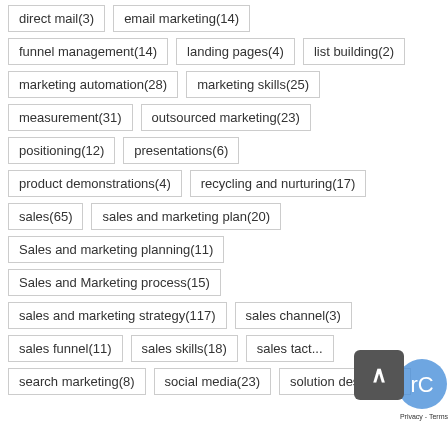direct mail(3)
email marketing(14)
funnel management(14)
landing pages(4)
list building(2)
marketing automation(28)
marketing skills(25)
measurement(31)
outsourced marketing(23)
positioning(12)
presentations(6)
product demonstrations(4)
recycling and nurturing(17)
sales(65)
sales and marketing plan(20)
Sales and marketing planning(11)
Sales and Marketing process(15)
sales and marketing strategy(117)
sales channel(3)
sales funnel(11)
sales skills(18)
sales tactics(11)
search marketing(8)
social media(23)
solution design(16)